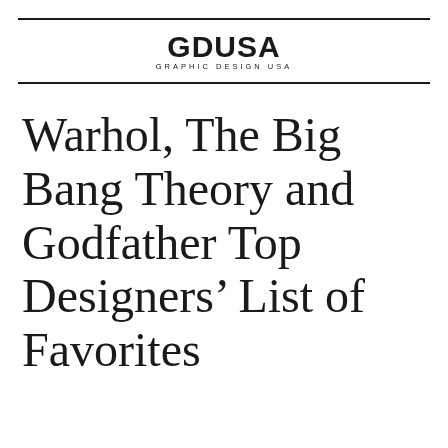GDUSA GRAPHIC DESIGN USA
Warhol, The Big Bang Theory and Godfather Top Designers’ List of Favorites